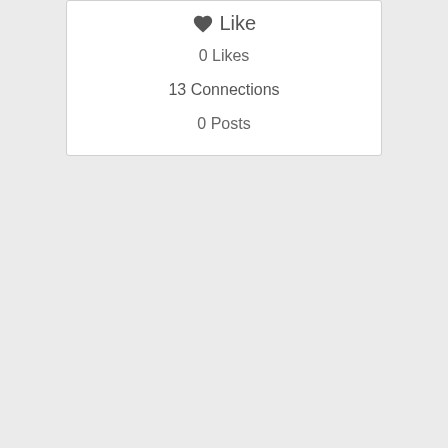♥ Like
0 Likes
13 Connections
0 Posts
Profile
Bachelor in Electrical Engineering (BE) from Fr. C.R. Institute of Technology – Mumbai University,
Career Specialized in MEP services with Strategizing, Planning, Managing, Reviewing, Designing with technical specifications, Bill, Scope of works, Quantifying, Budgeting, Tendering with conditions of contract, Coordination, Contractor/Vendor appointment, Approval of material/sample/shop drawing submittals, Response to RFIs & site